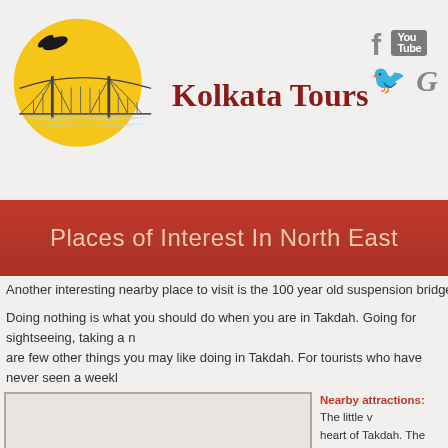[Figure (logo): Kolkata Tours logo with bridge and sun illustration]
[Figure (other): Social media icons: Facebook, YouTube, Twitter, Google+]
Places of Interest In North East
Another interesting nearby place to visit is the 100 year old suspension bridge called Barbat
Doing nothing is what you should do when you are in Takdah. Going for sightseeing, taking a r are few other things you may like doing in Takdah. For tourists who have never seen a weekl Dara in Takdah.
[Figure (photo): Image placeholder for Takdah area]
Nearby attractions: The little v heart of Takdah. The famous A Peshoke Tea Garden view poi away.
Best visit time: Takdah can be